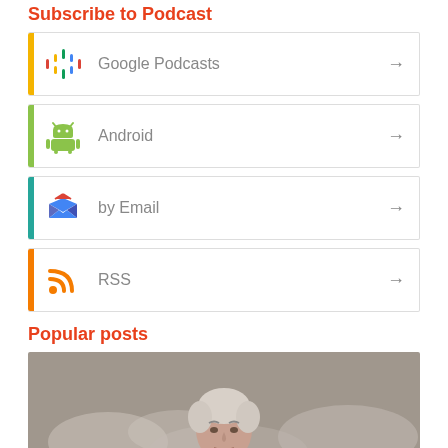Subscribe to Podcast
Google Podcasts
Android
by Email
RSS
Popular posts
[Figure (photo): Portrait photo of an elderly man with white/grey hair against a cloudy grey background]